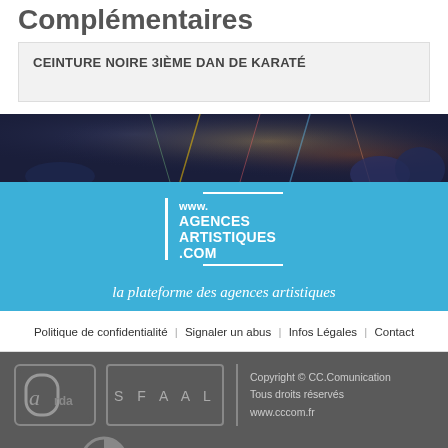Complémentaires
CEINTURE NOIRE 3IÈME DAN DE KARATÉ
[Figure (photo): Photo of a crowd at a celebration or concert, dark background with colorful confetti and lights]
[Figure (logo): www.agencesartistiques.com logo with white text on blue background and tagline 'la plateforme des agences artistiques']
la plateforme des agences artistiques
Politique de confidentialité | Signaler un abus | Infos Légales | Contact
[Figure (logo): ARDA and SFAAL logos in footer]
Copyright © CC.Comunication
Tous droits réservés
www.cccom.fr
[Figure (logo): cc.com logo in grey at bottom of footer]